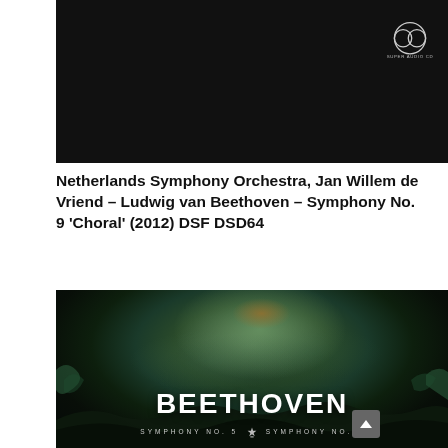[Figure (photo): Dark SACD album cover top portion showing black background with SUPER AUDIO CD logo in top right corner]
Netherlands Symphony Orchestra, Jan Willem de Vriend – Ludwig van Beethoven – Symphony No. 9 'Choral' (2012) DSF DSD64
[Figure (photo): Album cover showing a bronze/teal patinated sculpture bust of Beethoven looking upward, with 'BEETHOVEN' in large white letters at the bottom, and 'SYMPHONY NO. 5  [logo]  SYMPHONY NO. 7' below in spaced white letters on dark background]